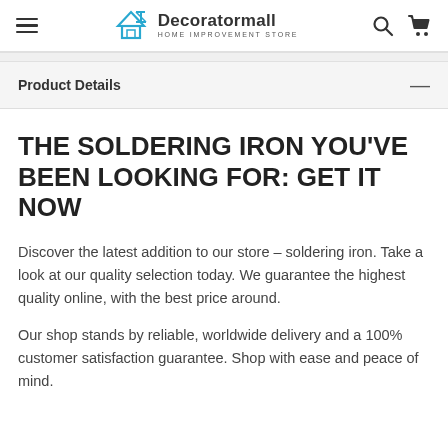Decoratormall HOME IMPROVEMENT STORE
Product Details
THE SOLDERING IRON YOU'VE BEEN LOOKING FOR: GET IT NOW
Discover the latest addition to our store – soldering iron. Take a look at our quality selection today. We guarantee the highest quality online, with the best price around.
Our shop stands by reliable, worldwide delivery and a 100% customer satisfaction guarantee. Shop with ease and peace of mind.